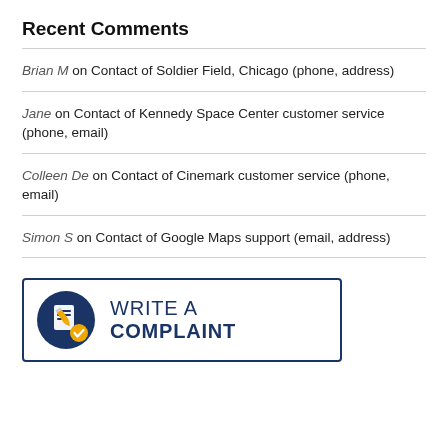Recent Comments
Brian M on Contact of Soldier Field, Chicago (phone, address)
Jane on Contact of Kennedy Space Center customer service (phone, email)
Colleen De on Contact of Cinemark customer service (phone, email)
Simon S on Contact of Google Maps support (email, address)
[Figure (infographic): Write A Complaint button with dark navy circular icon featuring a pen/paper symbol and gold checkmark, bordered rectangle button with text WRITE A COMPLAINT]